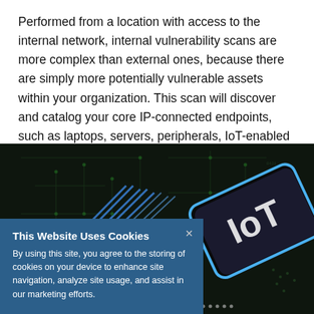Performed from a location with access to the internal network, internal vulnerability scans are more complex than external ones, because there are simply more potentially vulnerable assets within your organization. This scan will discover and catalog your core IP-connected endpoints, such as laptops, servers, peripherals, IoT-enabled machines, and mobile devices.
[Figure (photo): Dark circuit board with blue-lit traces in the background; an IoT-labeled dark key/chip visible in lower right area. A cookie consent banner overlays the lower-left portion of the image.]